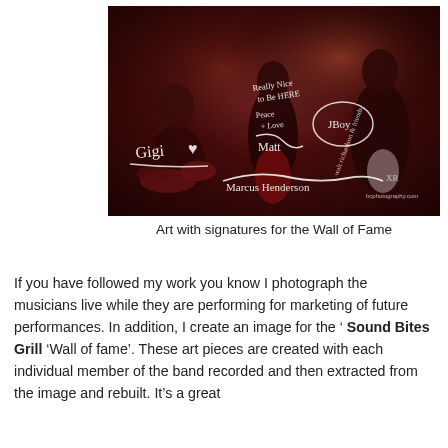[Figure (photo): Band performance photo with white handwritten signatures overlaid on a dark reddish background. Three musicians visible: drummer on left, guitarist in center, guitarist on right. Signatures and text written in white ink across the image including 'Gigi', 'Really Nice to Be HERE', 'Peace + Love', and other signatures. Walt Richardson & Friends photography credit visible. bcphotography.com watermark present.]
Art with signatures for the Wall of Fame
If you have followed my work you know I photograph the musicians live while they are performing for marketing of future performances. In addition, I create an image for the ' Sound Bites Grill 'Wall of fame'. These art pieces are created with each individual member of the band recorded and then extracted from the image and rebuilt. It's a great